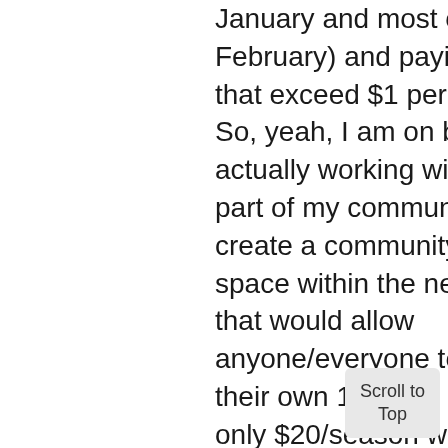January and most of February) and paying prices that exceed $1 per pepper. So, yeah, I am on board. I am actually working with the city part of my community to create a community garden space within the next 2 years that would allow anyone/everyone to manage their own 10' x 10' plot for only $20/season which includes the dirt, soil, compost and beginni seed packet.
Scroll to Top